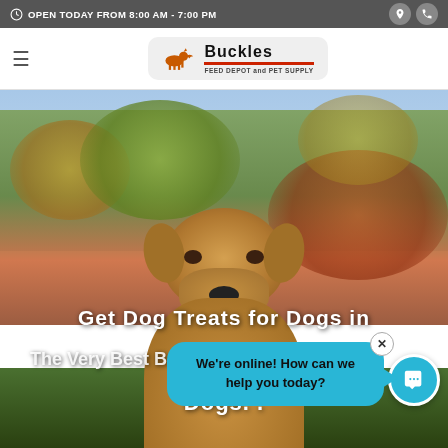OPEN TODAY FROM 8:00 AM - 7:00 PM
[Figure (logo): Buckles Feed Depot and Pet Supply logo with horse silhouette]
[Figure (photo): Golden retriever dog looking at camera with blurred vineyard/autumn trees background. Overlay text reads: Get Dog Treats for Dogs in The Very Best Boys Dogs..]
We're online! How can we help you today?